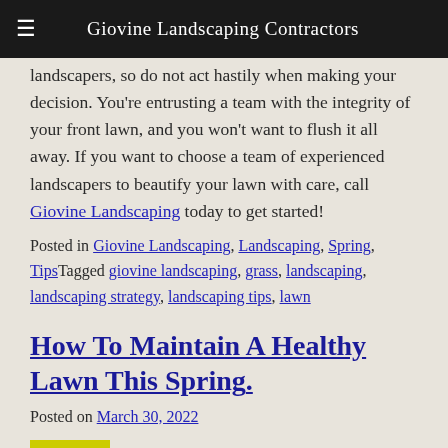Giovine Landscaping Contractors
landscapers, so do not act hastily when making your decision. You're entrusting a team with the integrity of your front lawn, and you won't want to flush it all away. If you want to choose a team of experienced landscapers to beautify your lawn with care, call Giovine Landscaping today to get started!
Posted in Giovine Landscaping, Landscaping, Spring, TipsTagged giovine landscaping, grass, landscaping, landscaping strategy, landscaping tips, lawn
How To Maintain A Healthy Lawn This Spring
Posted on March 30, 2022